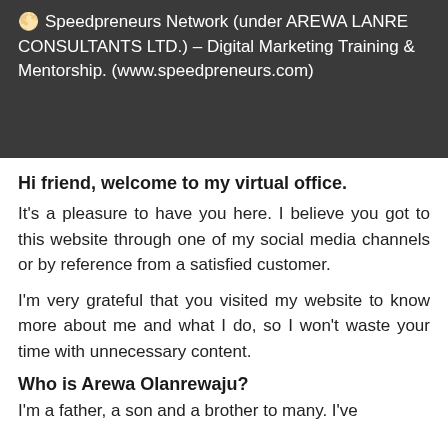🌕 Speedpreneurs Network (under AREWA LANRE CONSULTANTS LTD.) – Digital Marketing Training & Mentorship. (www.speedpreneurs.com)
Hi friend, welcome to my virtual office.
It's a pleasure to have you here. I believe you got to this website through one of my social media channels or by reference from a satisfied customer.
I'm very grateful that you visited my website to know more about me and what I do, so I won't waste your time with unnecessary content.
Who is Arewa Olanrewaju?
I'm a father, a son and a brother to many. I've been on a really wild ride and I...